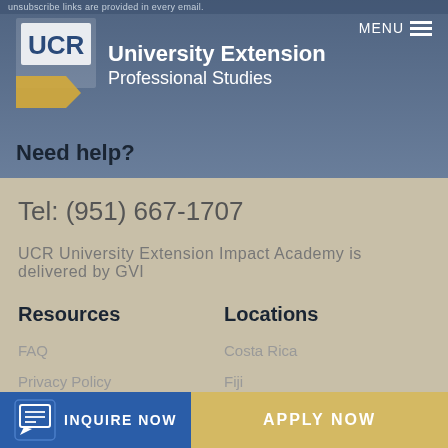unsubscribe links are provided in every email.
[Figure (logo): UCR University Extension Professional Studies logo with yellow triangle shape and white UCR text]
MENU
Need help?
Tel: (951) 667-1707
UCR University Extension Impact Academy is delivered by GVI
Resources
Locations
FAQ
Privacy Policy
Terms of Service
Costa Rica
Fiji
Ghana
Peru
South Africa
INQUIRE NOW
APPLY NOW